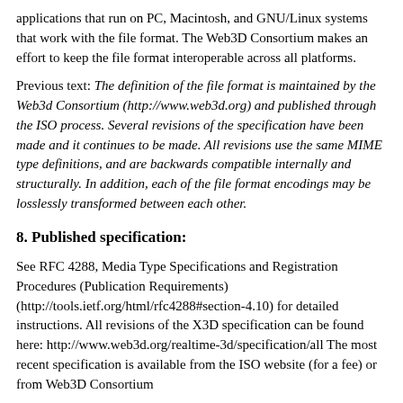applications that run on PC, Macintosh, and GNU/Linux systems that work with the file format. The Web3D Consortium makes an effort to keep the file format interoperable across all platforms.
Previous text: The definition of the file format is maintained by the Web3d Consortium (http://www.web3d.org) and published through the ISO process. Several revisions of the specification have been made and it continues to be made. All revisions use the same MIME type definitions, and are backwards compatible internally and structurally. In addition, each of the file format encodings may be losslessly transformed between each other.
8. Published specification:
See RFC 4288, Media Type Specifications and Registration Procedures (Publication Requirements) (http://tools.ietf.org/html/rfc4288#section-4.10) for detailed instructions. All revisions of the X3D specification can be found here: http://www.web3d.org/realtime-3d/specification/all The most recent specification is available from the ISO website (for a fee) or from Web3D Consortium
ISO/IEC 19776-1.2:2009 - XML Encoding (http://www.web3d.org/files/specifications/19776-1/V3.3/index.html)